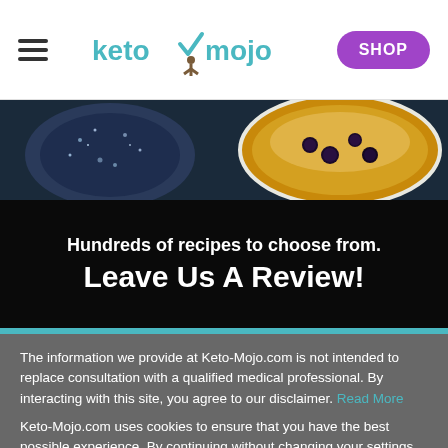keto mojo — SHOP
[Figure (photo): Food image showing blueberry dishes on dark background]
Hundreds of recipes to choose from.
Leave Us A Review!
The information we provide at Keto-Mojo.com is not intended to replace consultation with a qualified medical professional. By interacting with this site, you agree to our disclaimer. Read More
Keto-Mojo.com uses cookies to ensure that you have the best possible experience. By continuing without changing your settings, you are accepting the use of cookies. Read More
Cookie Settings   ACCEPT